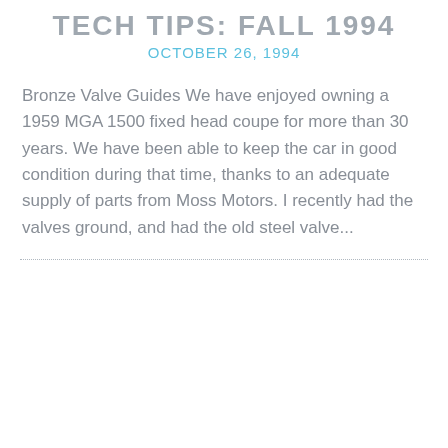TECH TIPS: FALL 1994
OCTOBER 26, 1994
Bronze Valve Guides We have enjoyed owning a 1959 MGA 1500 fixed head coupe for more than 30 years. We have been able to keep the car in good condition during that time, thanks to an adequate supply of parts from Moss Motors. I recently had the valves ground, and had the old steel valve...